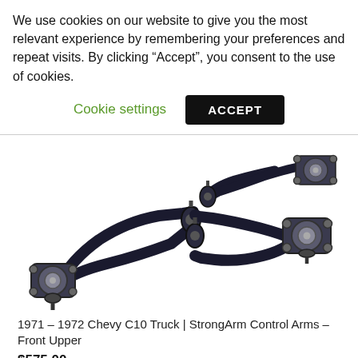We use cookies on our website to give you the most relevant experience by remembering your preferences and repeat visits. By clicking “Accept”, you consent to the use of cookies.
Cookie settings   ACCEPT
[Figure (photo): Two black metal upper control arms (StrongArm) for a 1971-1972 Chevy C10 Truck, shown side by side on a white background. Each arm is A-shaped with adjustable cam bolt ends.]
1971 – 1972 Chevy C10 Truck | StrongArm Control Arms – Front Upper
$575.00